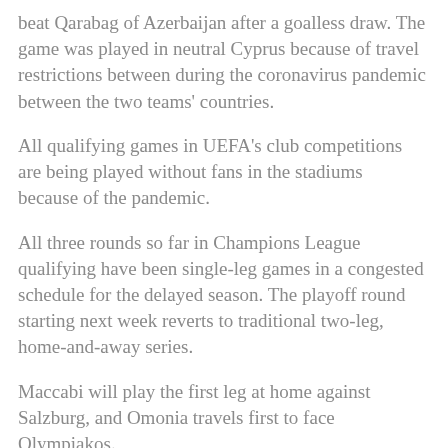beat Qarabag of Azerbaijan after a goalless draw. The game was played in neutral Cyprus because of travel restrictions between during the coronavirus pandemic between the two teams' countries.
All qualifying games in UEFA's club competitions are being played without fans in the stadiums because of the pandemic.
All three rounds so far in Champions League qualifying have been single-leg games in a congested schedule for the delayed season. The playoff round starting next week reverts to traditional two-leg, home-and-away series.
Maccabi will play the first leg at home against Salzburg, and Omonia travels first to face Olympiakos.
Ferencváros plays away first against Molde, and Midtjylland travels to Slavia Prague.
In a separate playoff section, for teams that did not win the